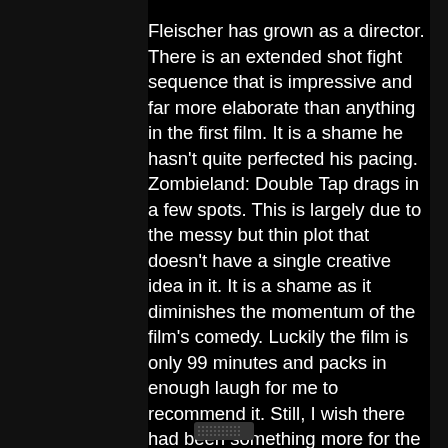Fleischer has grown as a director. There is an extended shot fight sequence that is impressive and far more elaborate than anything in the first film. It is a shame he hasn't quite perfected his pacing. Zombieland: Double Tap drags in a few spots. This is largely due to the messy but thin plot that doesn't have a single creative idea in it. It is a shame as it diminishes the momentum of the film's comedy. Luckily the film is only 99 minutes and packs in enough laugh for me to recommend it. Still, I wish there had been something more for the characters to do.
3/5